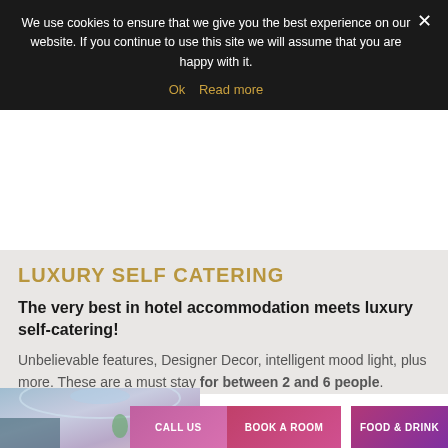We use cookies to ensure that we give you the best experience on our website. If you continue to use this site we will assume that you are happy with it.
Ok  Read more
LUXURY SELF CATERING
The very best in hotel accommodation meets luxury self-catering!
Unbelievable features, Designer Decor, intelligent mood light, plus more. These are a must stay for between 2 and 6 people.
[Figure (photo): Hotel room interior with ambient mood lighting and modern decor]
CALL US  BOOK A ROOM  FOOD & DRINK